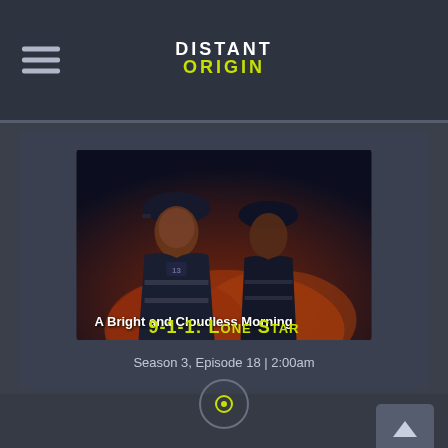DISTANT ORIGIN — app header with hamburger menu
[Figure (screenshot): A Bright and Cloudless Morning — firefighters scene thumbnail for 9-1-1: Lone Star]
9-1-1: LONE STAR
Season 3, Episode 18  |  2:00am
[Figure (other): Back to top arrow button and circle navigation icon at bottom of screen]